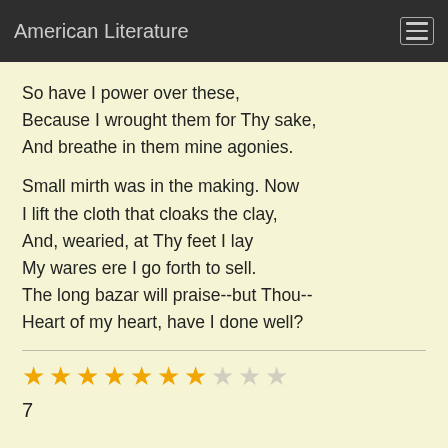American Literature
So have I power over these,
Because I wrought them for Thy sake,
And breathe in them mine agonies.

Small mirth was in the making. Now
I lift the cloth that cloaks the clay,
And, wearied, at Thy feet I lay
My wares ere I go forth to sell.
The long bazar will praise--but Thou--
Heart of my heart, have I done well?
7